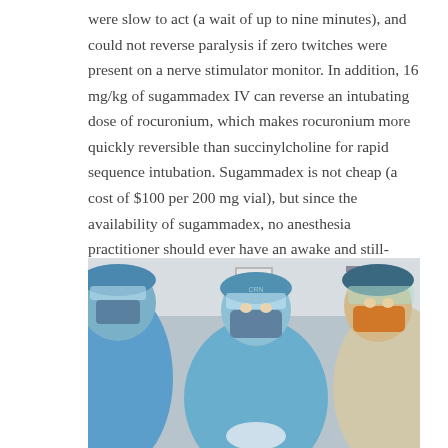were slow to act (a wait of up to nine minutes), and could not reverse paralysis if zero twitches were present on a nerve stimulator monitor. In addition, 16 mg/kg of sugammadex IV can reverse an intubating dose of rocuronium, which makes rocuronium more quickly reversible than succinylcholine for rapid sequence intubation. Sugammadex is not cheap (a cost of $100 per 200 mg vial), but since the availability of sugammadex, no anesthesia practitioner should ever have an awake and still-paralyzed patient at the conclusion of an anesthetic. A terrific advance. Five stars.
[Figure (photo): Medical professionals in blue surgical gowns, face shields, and masks working in an operating room. A sign with the number 4 is visible on the wall in the background.]